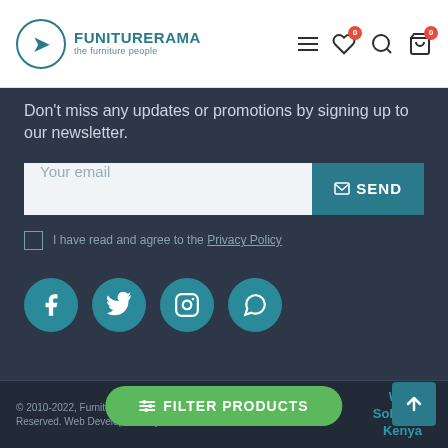FUNITURERAMA the furniture people
Don't miss any updates or promotions by signing up to our newsletter.
Your email — SEND
I have read and agree to the Privacy Policy
[Figure (other): Social media icons: Facebook, Twitter, Instagram, WhatsApp]
© 2010-2022, Furniturerama Limited. All Rights Reserved. Web Development by Web Solutions Kenya
[Figure (other): Payment method logos: Visa, Discover and others]
FILTER PRODUCTS